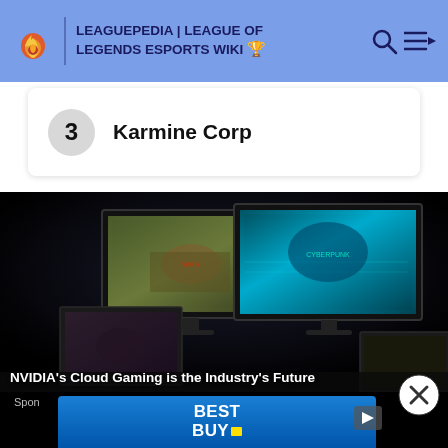LEAGUEPEDIA | LEAGUE OF LEGENDS ESPORTS WIKI
3  Karmine Corp
[Figure (screenshot): Video ad showing gaming monitors displaying action games on a dark background. Monitors show game scenes including what appears to be a war game and a cyberpunk-style game. Text overlay reads: NVIDIA's Cloud Gaming is the Industry's Future. Sponsored label visible. A Best Buy advertisement banner is overlaid at the bottom with a close (X) button.]